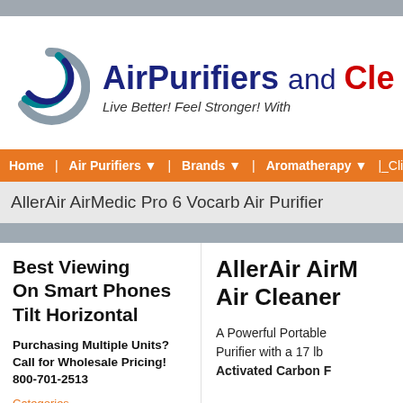[Figure (logo): AirPurifiers and Cleaners website logo with swirl graphic]
AirPurifiers and Cle... Live Better! Feel Stronger! With
Home | Air Purifiers ▼ | Brands ▼ | Aromatherapy ▼ | Climate
AllerAir AirMedic Pro 6 Vocarb Air Purifier
Best Viewing On Smart Phones Tilt Horizontal
Purchasing Multiple Units? Call for Wholesale Pricing! 800-701-2513
Categories
Portable Home & Office Air
AllerAir AirM... Air Cleaner
A Powerful Portable Purifier with a 17 lb Activated Carbon F...